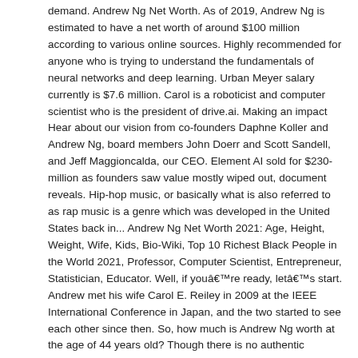demand. Andrew Ng Net Worth. As of 2019, Andrew Ng is estimated to have a net worth of around $100 million according to various online sources. Highly recommended for anyone who is trying to understand the fundamentals of neural networks and deep learning. Urban Meyer salary currently is $7.6 million. Carol is a roboticist and computer scientist who is the president of drive.ai. Making an impact Hear about our vision from co-founders Daphne Koller and Andrew Ng, board members John Doerr and Scott Sandell, and Jeff Maggioncalda, our CEO. Element AI sold for $230-million as founders saw value mostly wiped out, document reveals. Hip-hop music, or basically what is also referred to as rap music is a genre which was developed in the United States back in... Andrew Ng Net Worth 2021: Age, Height, Weight, Wife, Kids, Bio-Wiki, Top 10 Richest Black People in the World 2021, Professor, Computer Scientist, Entrepreneur, Statistician, Educator. Well, if youâre ready, letâs start. Andrew met his wife Carol E. Reiley in 2009 at the IEEE International Conference in Japan, and the two started to see each other since then. So, how much is Andrew Ng worth at the age of 44 years old? Though there is no authentic information about his net worth available over the internet, we guess that he must be worth more...